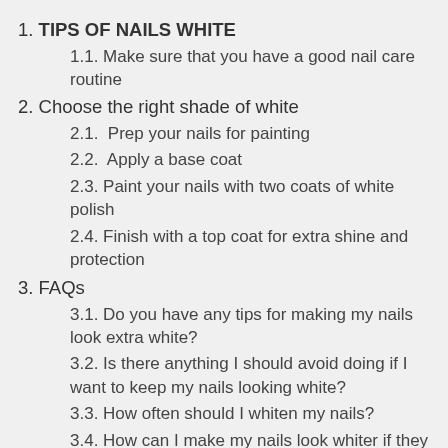1. TIPS OF NAILS WHITE
1.1. Make sure that you have a good nail care routine
2. Choose the right shade of white
2.1.  Prep your nails for painting
2.2.  Apply a base coat
2.3. Paint your nails with two coats of white polish
2.4. Finish with a top coat for extra shine and protection
3. FAQs
3.1. Do you have any tips for making my nails look extra white?
3.2. Is there anything I should avoid doing if I want to keep my nails looking white?
3.3. How often should I whiten my nails?
3.4. How can I make my nails look whiter if they are dry?